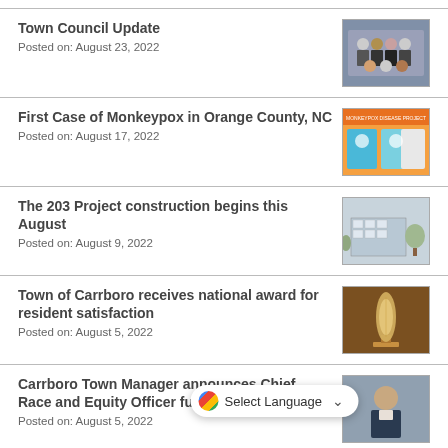Town Council Update
Posted on: August 23, 2022
[Figure (photo): Group photo of town council members]
First Case of Monkeypox in Orange County, NC
Posted on: August 17, 2022
[Figure (infographic): Monkeypox informational graphic with orange header and illustrated figures]
The 203 Project construction begins this August
Posted on: August 9, 2022
[Figure (illustration): Architectural rendering of the 203 Project building]
Town of Carrboro receives national award for resident satisfaction
Posted on: August 5, 2022
[Figure (photo): Photo of award trophy]
Carrboro Town Manager announces Chief Race and Equity Officer fulltime pos...
Posted on: August 5, 2022
[Figure (photo): Photo of person in suit]